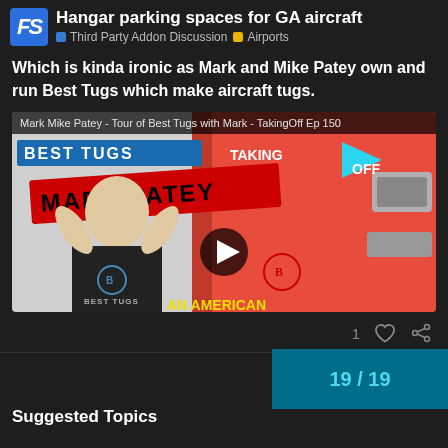Hangar parking spaces for GA aircraft | Third Party Addon Discussion | Airports
Which is kinda ironic as Mark and Mike Patey own and run Best Tugs which make aircraft tugs.
[Figure (screenshot): YouTube video thumbnail for 'Mark Mike Patey - Tour of Best Tugs with Mark - TakingOff Ep 150'. Shows a man with hands on head wearing a Best Tugs shirt, with red Best Tugs equipment visible, and overlay text 'MARK PATEY' and 'AN AMERICAN SUCCESS STORY'. Play button visible in center.]
19 / 19
Suggested Topics